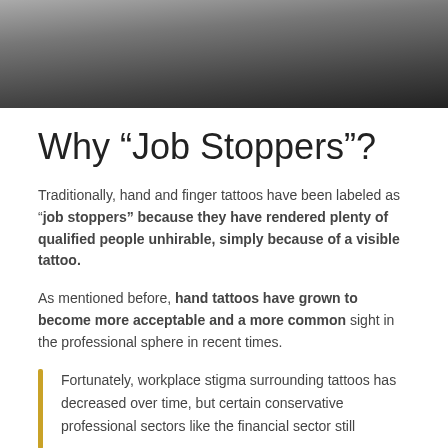[Figure (photo): Black and white photo of hands, showing rings and tattoos, partially cropped at top of page]
Why “Job Stoppers”?
Traditionally, hand and finger tattoos have been labeled as “job stoppers” because they have rendered plenty of qualified people unhirable, simply because of a visible tattoo.
As mentioned before, hand tattoos have grown to become more acceptable and a more common sight in the professional sphere in recent times.
Fortunately, workplace stigma surrounding tattoos has decreased over time, but certain conservative professional sectors like the financial sector still